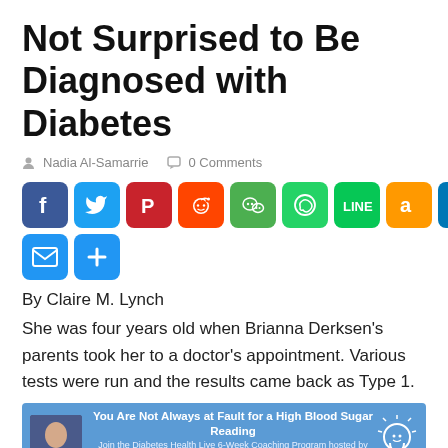Not Surprised to Be Diagnosed with Diabetes
Nadia Al-Samarrie   0 Comments
[Figure (infographic): Social media share buttons: Facebook, Twitter, Pinterest, Reddit, WeChat, WhatsApp, LINE, Amazon, LinkedIn, Email, Share]
By Claire M. Lynch
She was four years old when Brianna Derksen's parents took her to a doctor's appointment. Various tests were run and the results came back as Type 1.
[Figure (infographic): Ad banner: You Are Not Always at Fault for a High Blood Sugar Reading. Join the Diabetes Health Live 6-Week Coaching Program hosted by Nadia Al-Samarrie, publisher and editor-in-chief of Diabetes Health]
In hindsight, Brianna wasn't surprised because there is